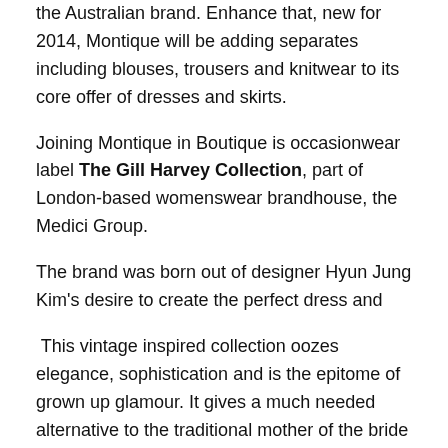the Australian brand. Enhance that, new for 2014, Montique will be adding separates including blouses, trousers and knitwear to its core offer of dresses and skirts.
Joining Montique in Boutique is occasionwear label The Gill Harvey Collection, part of London-based womenswear brandhouse, the Medici Group.
The brand was born out of designer Hyun Jung Kim's desire to create the perfect dress and
This vintage inspired collection oozes elegance, sophistication and is the epitome of grown up glamour. It gives a much needed alternative to the traditional mother of the bride formula. Also returning to Boutique this season is US-based knitwear brand Kourosh New York. Each garment in the collection is knitted from fine yarns and finished with rhinestones, beads and